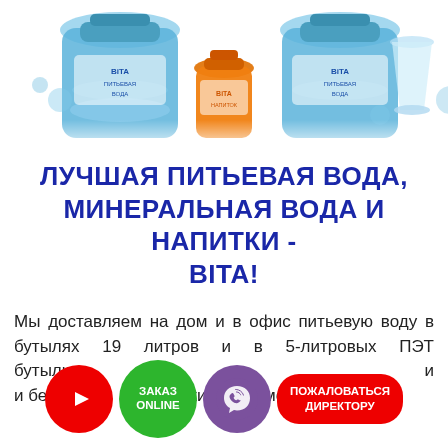[Figure (photo): Water bottles photo: large blue 19-litre bottles, an orange PET bottle, and a glass, on white background with blue water liquid splash]
ЛУЧШАЯ ПИТЬЕВАЯ ВОДА, МИНЕРАЛЬНАЯ ВОДА И НАПИТКИ - BiTA!
Мы доставляем на дом и в офис питьевую воду в бутылях 19 литров и в 5-литровых ПЭТ бутылках, газированные и негазированные и безалкогольные напитки объемом 0,5л; 1л;